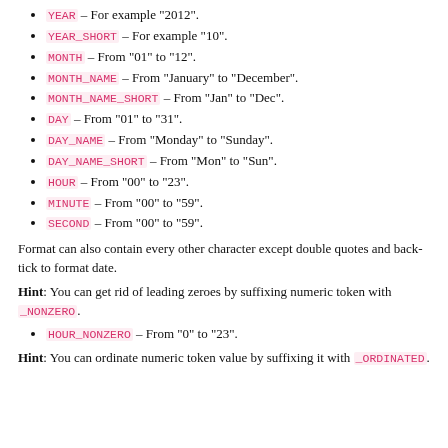YEAR – For example "2012".
YEAR_SHORT – For example "10".
MONTH – From "01" to "12".
MONTH_NAME – From "January" to "December".
MONTH_NAME_SHORT – From "Jan" to "Dec".
DAY – From "01" to "31".
DAY_NAME – From "Monday" to "Sunday".
DAY_NAME_SHORT – From "Mon" to "Sun".
HOUR – From "00" to "23".
MINUTE – From "00" to "59".
SECOND – From "00" to "59".
Format can also contain every other character except double quotes and back-tick to format date.
Hint: You can get rid of leading zeroes by suffixing numeric token with _NONZERO.
HOUR_NONZERO – From "0" to "23".
Hint: You can ordinate numeric token value by suffixing it with _ORDINATED.